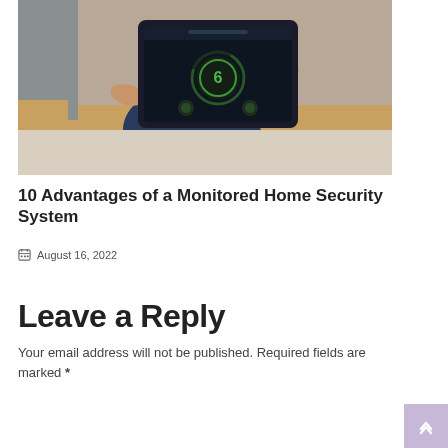[Figure (photo): A person sitting on a couch holding a tablet showing a home security system control interface with a circular gauge/timer on a dark screen.]
10 Advantages of a Monitored Home Security System
August 16, 2022
Leave a Reply
Your email address will not be published. Required fields are marked *